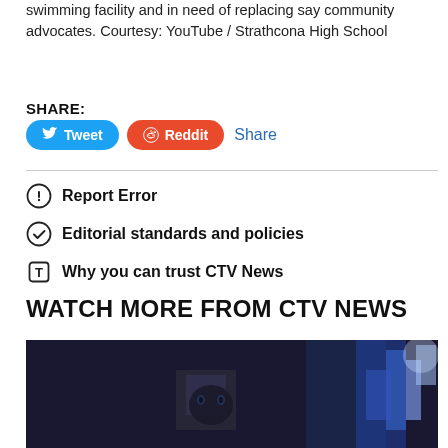swimming facility and in need of replacing say community advocates. Courtesy: YouTube / Strathcona High School
SHARE:
Tweet
Reddit
Share
Report Error
Editorial standards and policies
Why you can trust CTV News
WATCH MORE FROM CTV NEWS
[Figure (photo): Dark video thumbnail showing a blurry nighttime scene with blue and white lights]